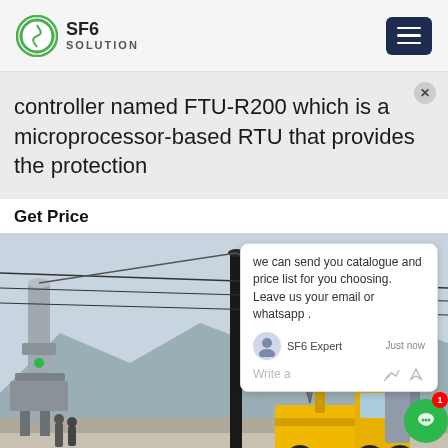SF6 SOLUTION
controller named FTU-R200 which is a microprocessor-based RTU that provides the protection
Get Price
[Figure (photo): Electrical substation with SF6 equipment, yellow utility truck (Isuzu), high-voltage transmission towers and cables, industrial maintenance scene with workers and machinery in mountainous area.]
we can send you catalogue and price list for you choosing. Leave us your email or whatsapp .
SF6 Expert   just now
Write a